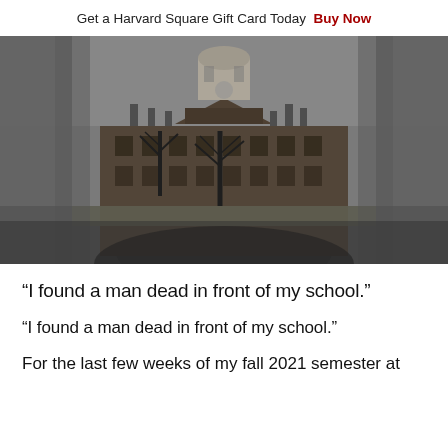Get a Harvard Square Gift Card Today  Buy Now
[Figure (photo): Black and white photograph of a Harvard University building with a cupola tower, viewed through blurred foreground columns, bare trees in front of a brick academic building.]
“I found a man dead in front of my school.”
“I found a man dead in front of my school.”
For the last few weeks of my fall 2021 semester at